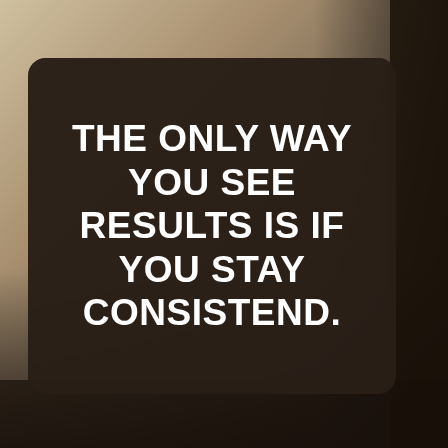[Figure (illustration): Motivational quote image with dark semi-transparent rounded rectangle overlay on a blurred warm-toned background. Text reads: THE ONLY WAY YOU SEE RESULTS IS IF YOU STAY CONSISTEND.]
THE ONLY WAY YOU SEE RESULTS IS IF YOU STAY CONSISTEND.